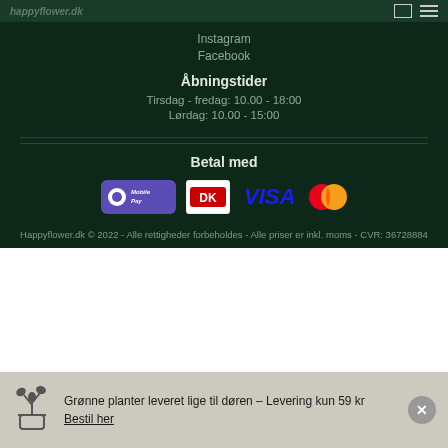happyflower.dk
Instagram
Facebook
Åbningstider
Tirsdag - fredag: 10.00 - 18:00
Lørdag: 10.00 - 15:00
Betal med
[Figure (logo): Payment method logos: MobilePay, Dankort (DK), VISA, Mastercard]
Happyflower.dk © 2022 - Alle rettigheder forbeholdes - Alle priser er inkl. moms - CVR: 36728884
Grønne planter leveret lige til døren – Levering kun 59 kr
Bestil her